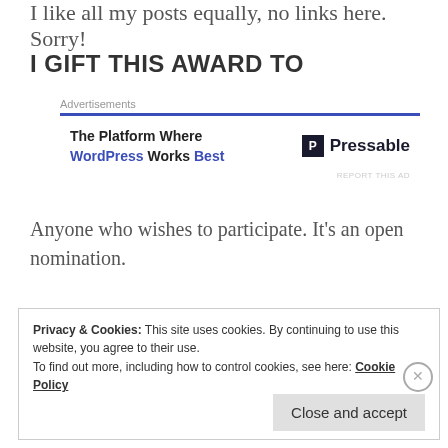I like all my posts equally, no links here. Sorry!
I GIFT THIS AWARD TO
[Figure (screenshot): Advertisement banner for Pressable: 'The Platform Where WordPress Works Best' with Pressable logo]
Anyone who wishes to participate. It’s an open nomination.
Thank you for reading!
Privacy & Cookies: This site uses cookies. By continuing to use this website, you agree to their use. To find out more, including how to control cookies, see here: Cookie Policy
Close and accept